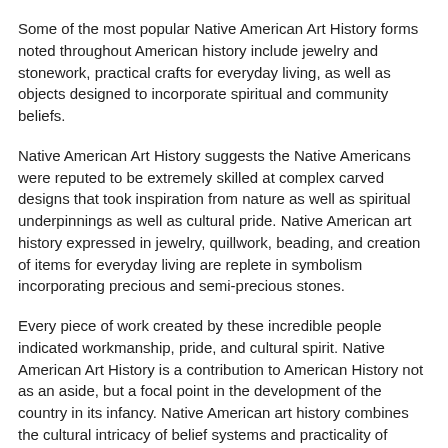Some of the most popular Native American Art History forms noted throughout American history include jewelry and stonework, practical crafts for everyday living, as well as objects designed to incorporate spiritual and community beliefs.
Native American Art History suggests the Native Americans were reputed to be extremely skilled at complex carved designs that took inspiration from nature as well as spiritual underpinnings as well as cultural pride. Native American art history expressed in jewelry, quillwork, beading, and creation of items for everyday living are replete in symbolism incorporating precious and semi-precious stones.
Every piece of work created by these incredible people indicated workmanship, pride, and cultural spirit. Native American Art History is a contribution to American History not as an aside, but a focal point in the development of the country in its infancy. Native American art history combines the cultural intricacy of belief systems and practicality of objects designed for everyday use.
Native American Art History suggests the indigenous tribal peoples did not experiment with various art forms until the advent of the “colonial presence”